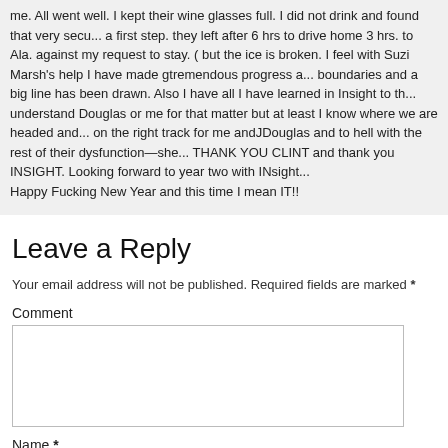me. All went well. I kept their wine glasses full. I did not drink and found that very secu... a first step. they left after 6 hrs to drive home 3 hrs. to Ala. against my request to stay. ( but the ice is broken. I feel with Suzi Marsh's help I have made gtremendous progress a... boundaries and a big line has been drawn. Also I have all I have learned in Insight to th... understand Douglas or me for that matter but at least I know where we are headed and... on the right track for me andJDouglas and to hell with the rest of their dysfunction—she... THANK YOU CLINT and thank you INSIGHT. Looking forward to year two with INsight... Happy Fucking New Year and this time I mean IT!!
Leave a Reply
Your email address will not be published. Required fields are marked *
Comment
Name *
Email *